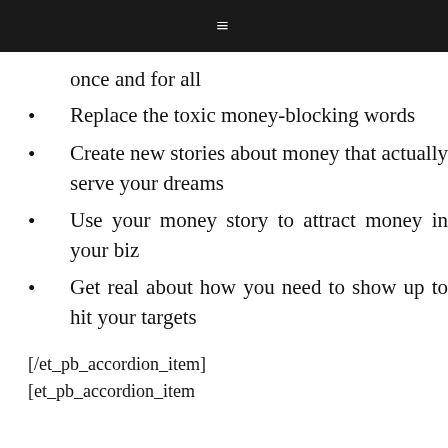≡
once and for all
Replace the toxic money-blocking words
Create new stories about money that actually serve your dreams
Use your money story to attract money in your biz
Get real about how you need to show up to hit your targets
[/et_pb_accordion_item]
[et_pb_accordion_item